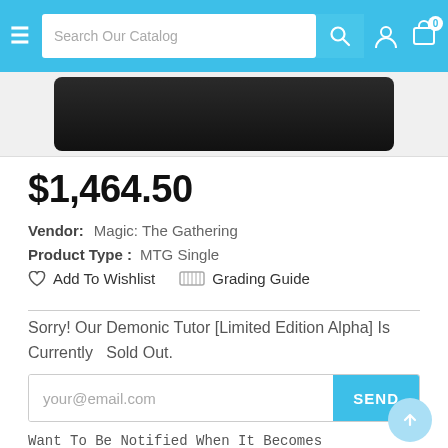Search Our Catalog
[Figure (photo): Product image showing a dark Magic: The Gathering card (Demonic Tutor Limited Edition Alpha) on a light background]
$1,464.50
Vendor:  Magic: The Gathering
Product Type :  MTG Single
Add To Wishlist   Grading Guide
Sorry! Our Demonic Tutor [Limited Edition Alpha] Is Currently  Sold Out.
your@email.com
Want To Be Notified When It Becomes Available Again? Simply Register Your Interest And We'll